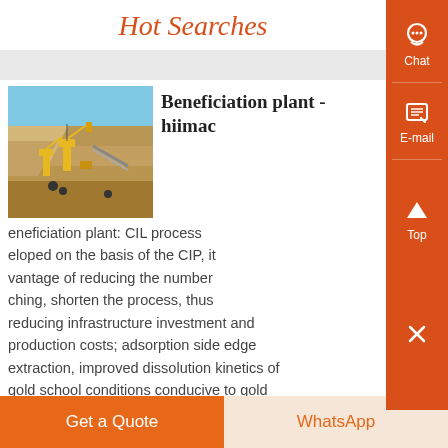Hot Searches
[Figure (photo): Mining/quarry site with yellow machinery and equipment in an open pit]
Beneficiation plant - hiimac
Beneficiation plant: CIL process developed on the basis of the CIP, it vantage of reducing the number ching, shorten the process, thus reducing infrastructure investment and production costs; adsorption side edge extraction, improved dissolution kinetics of gold school conditions conducive to gold extraction and adsorption...
Know More
Get a Quote   WhatsApp